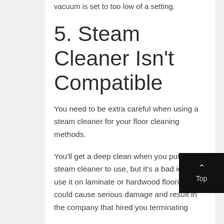vacuum is set to too low of a setting.
5. Steam Cleaner Isn't Compatible
You need to be extra careful when using a steam cleaner for your floor cleaning methods.
You'll get a deep clean when you put a steam cleaner to use, but it's a bad idea to use it on laminate or hardwood flooring. It could cause serious damage and result in the company that hired you terminating